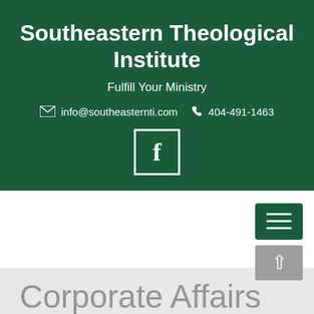Southeastern Theological Institute
Fulfill Your Ministry
info@southeasternti.com  404-491-1463
[Figure (logo): Facebook icon in a white-bordered square box]
[Figure (screenshot): Green hamburger menu button and grey scroll-to-top button]
Corporate Affairs
Home / Corporate Affairs